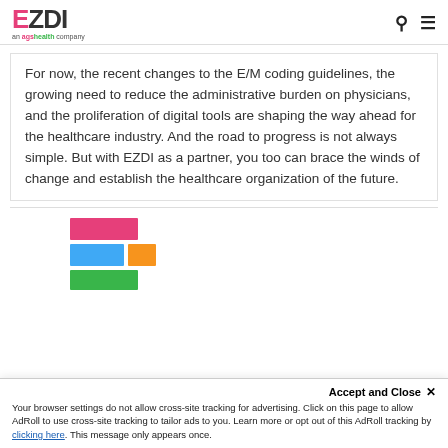EZDI - an agshealth company
For now, the recent changes to the E/M coding guidelines, the growing need to reduce the administrative burden on physicians, and the proliferation of digital tools are shaping the way ahead for the healthcare industry. And the road to progress is not always simple. But with EZDI as a partner, you too can brace the winds of change and establish the healthcare organization of the future.
[Figure (logo): Partial EZDI logo with colored rectangular blocks: pink, blue, yellow, green]
Accept and Close ×
Your browser settings do not allow cross-site tracking for advertising. Click on this page to allow AdRoll to use cross-site tracking to tailor ads to you. Learn more or opt out of this AdRoll tracking by clicking here. This message only appears once.